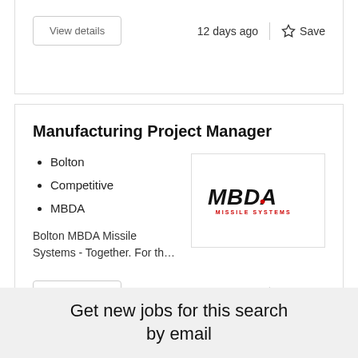View details  12 days ago  Save
Manufacturing Project Manager
Bolton
Competitive
MBDA
[Figure (logo): MBDA Missile Systems logo — bold black italic text MBDA with red dot, subtitle MISSILE SYSTEMS in red]
Bolton MBDA Missile Systems - Together. For th…
View details  14 days ago  Save
Get new jobs for this search by email